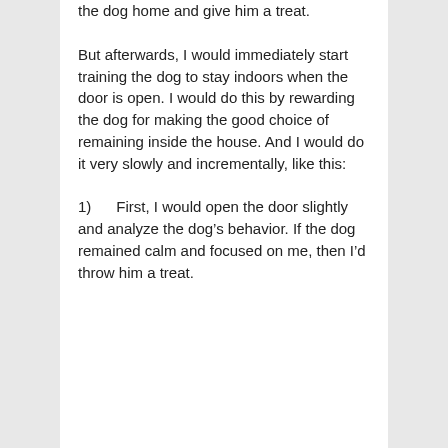the dog home and give him a treat.
But afterwards, I would immediately start training the dog to stay indoors when the door is open. I would do this by rewarding the dog for making the good choice of remaining inside the house. And I would do it very slowly and incrementally, like this:
1)      First, I would open the door slightly and analyze the dog's behavior. If the dog remained calm and focused on me, then I'd throw him a treat.